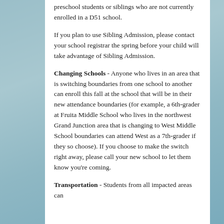preschool students or siblings who are not currently enrolled in a D51 school.
If you plan to use Sibling Admission, please contact your school registrar the spring before your child will take advantage of Sibling Admission.
Changing Schools - Anyone who lives in an area that is switching boundaries from one school to another can enroll this fall at the school that will be in their new attendance boundaries (for example, a 6th-grader at Fruita Middle School who lives in the northwest Grand Junction area that is changing to West Middle School boundaries can attend West as a 7th-grader if they so choose). If you choose to make the switch right away, please call your new school to let them know you're coming.
Transportation - Students from all impacted areas can